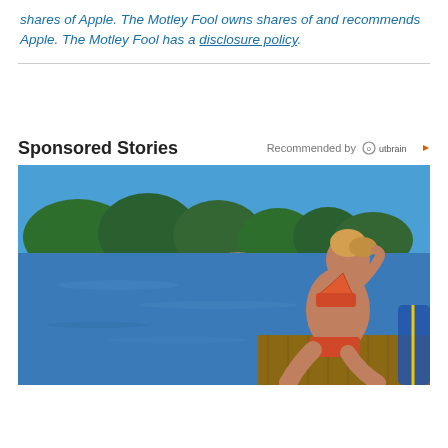shares of Apple. The Motley Fool owns shares of and recommends Apple. The Motley Fool has a disclosure policy.
Sponsored Stories
Recommended by Outbrain
[Figure (photo): A woman in a colorful bikini sits on a wooden dock by a calm lake, with trees and blue sky in the background.]